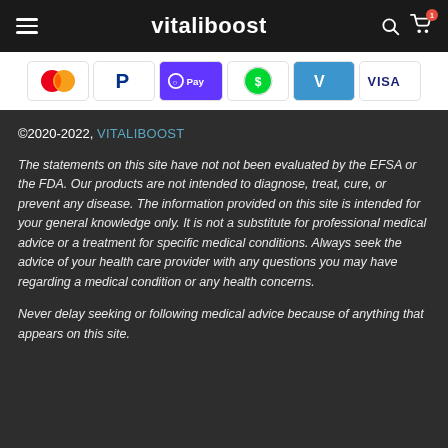vitaliboost
[Figure (other): Payment method icons: Mastercard, PayPal, Apple Pay (OPay), Cash App, Venmo, Visa]
©2020-2022, VITALIBOOST
The statements on this site have not not been evaluated by the EFSA or the FDA. Our products are not intended to diagnose, treat, cure, or prevent any disease. The information provided on this site is intended for your general knowledge only. It is not a substitute for professional medical advice or a treatment for specific medical conditions. Always seek the advice of your health care provider with any questions you may have regarding a medical condition or any health concerns.
Never delay seeking or following medical advice because of anything that appears on this site.